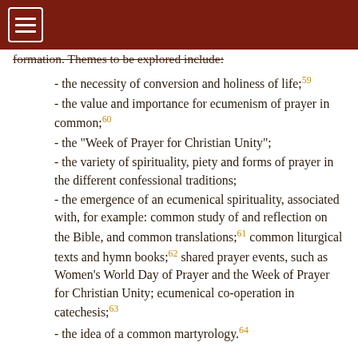formation. Themes to be explored include:
- the necessity of conversion and holiness of life;59
- the value and importance for ecumenism of prayer in common;60
- the "Week of Prayer for Christian Unity";
- the variety of spirituality, piety and forms of prayer in the different confessional traditions;
- the emergence of an ecumenical spirituality, associated with, for example: common study of and reflection on the Bible, and common translations;61 common liturgical texts and hymn books;62 shared prayer events, such as Women's World Day of Prayer and the Week of Prayer for Christian Unity; ecumenical co-operation in catechesis;63
- the idea of a common martyrology.64